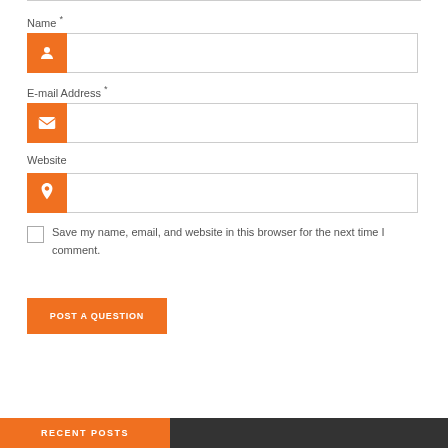Name *
[Figure (infographic): Orange icon box with person/user icon, followed by a text input field for Name]
E-mail Address *
[Figure (infographic): Orange icon box with envelope/email icon, followed by a text input field for E-mail Address]
Website
[Figure (infographic): Orange icon box with location/link icon, followed by a text input field for Website]
Save my name, email, and website in this browser for the next time I comment.
POST A QUESTION
RECENT POSTS